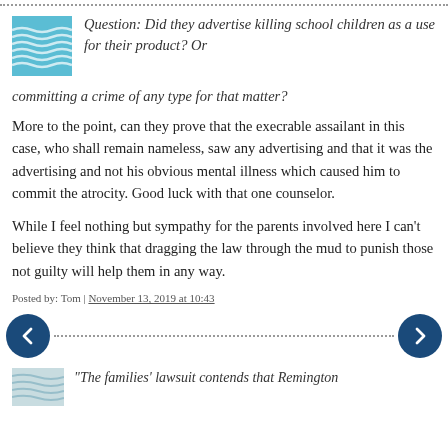[Figure (other): Dotted horizontal rule at top of page]
Question: Did they advertise killing school children as a use for their product? Or committing a crime of any type for that matter?
More to the point, can they prove that the execrable assailant in this case, who shall remain nameless, saw any advertising and that it was the advertising and not his obvious mental illness which caused him to commit the atrocity. Good luck with that one counselor.
While I feel nothing but sympathy for the parents involved here I can't believe they think that dragging the law through the mud to punish those not guilty will help them in any way.
Posted by: Tom | November 13, 2019 at 10:43
[Figure (other): Navigation row with left arrow button, dotted line, and right arrow button]
"The families' lawsuit contends that Remington